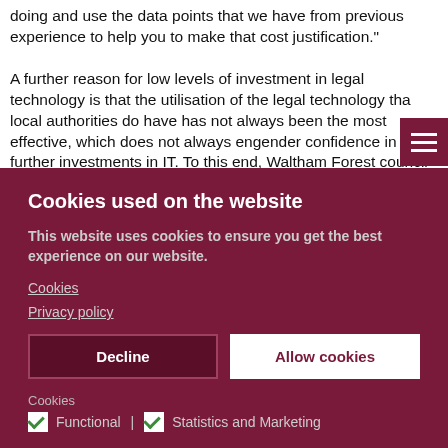doing and use the data points that we have from previous experience to help you to make that cost justification."

A further reason for low levels of investment in legal technology is that the utilisation of the legal technology that local authorities do have has not always been the most effective, which does not always engender confidence in further investments in IT. To this end, Waltham Forest council has appointed a legal technology officer (with an IT
Cookies used on the website
This website uses cookies to ensure you get the best experience on our website.
Cookies
Privacy policy
Decline
Allow cookies
Cookies
Functional | Statistics and Marketing